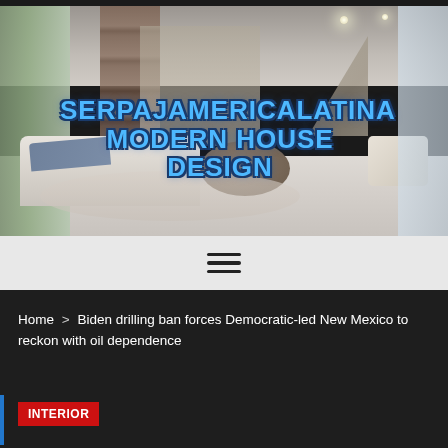[Figure (photo): Hero banner image of a modern luxury living room interior with large sofa, round wooden coffee table, floor-to-ceiling windows, recessed ceiling lights, and a staircase in the background. Overlaid with bold blue text reading SERPAJAMERICALATINA MODERN HOUSE DESIGN.]
SERPAJAMERICALATINA MODERN HOUSE DESIGN
Navigation menu (hamburger icon)
Home > Biden drilling ban forces Democratic-led New Mexico to reckon with oil dependence
INTERIOR